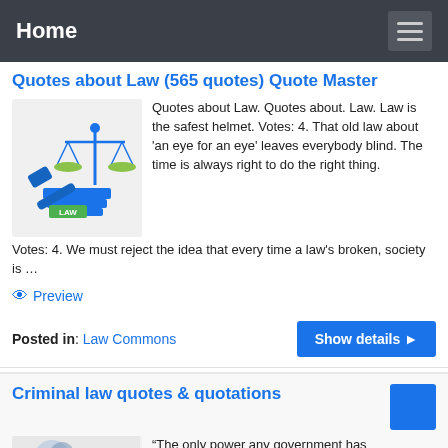Home
Quotes about Law (565 quotes) Quote Master
[Figure (illustration): Law-themed illustration with blue scales of justice, a gavel, books, and a green label reading LAW on a light grey background]
Quotes about Law. Quotes about. Law. Law is the safest helmet. Votes: 4. That old law about 'an eye for an eye' leaves everybody blind. The time is always right to do the right thing. Votes: 4. We must reject the idea that every time a law's broken, society is …
Preview
Posted in: Law Commons
Criminal law quotes & quotations
“The only power any government has